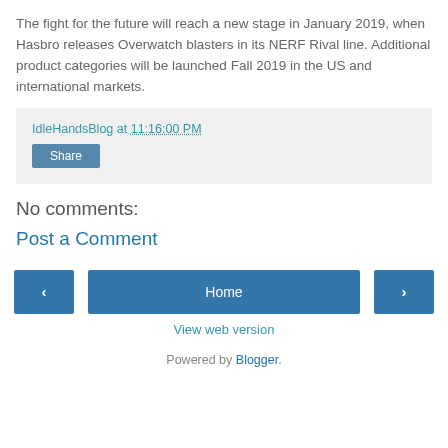The fight for the future will reach a new stage in January 2019, when Hasbro releases Overwatch blasters in its NERF Rival line. Additional product categories will be launched Fall 2019 in the US and international markets.
IdleHandsBlog at 11:16:00 PM
Share
No comments:
Post a Comment
‹  Home  ›
View web version
Powered by Blogger.